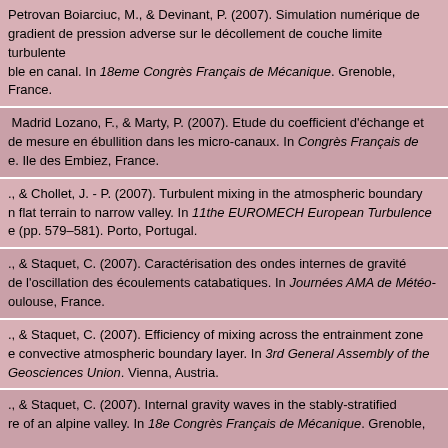Petrovan Boiarciuc, M., & Devinant, P. (2007). Simulation numérique de gradient de pression adverse sur le décollement de couche limite turbulente ble en canal. In 18eme Congrès Français de Mécanique. Grenoble, France.
Madrid Lozano, F., & Marty, P. (2007). Etude du coefficient d'échange et de mesure en ébullition dans les micro-canaux. In Congrès Français de e. Ile des Embiez, France.
., & Chollet, J. - P. (2007). Turbulent mixing in the atmospheric boundary n flat terrain to narrow valley. In 11the EUROMECH European Turbulence e (pp. 579–581). Porto, Portugal.
., & Staquet, C. (2007). Caractérisation des ondes internes de gravité de l'oscillation des écoulements catabatiques. In Journées AMA de Météo- oulouse, France.
., & Staquet, C. (2007). Efficiency of mixing across the entrainment zone e convective atmospheric boundary layer. In 3rd General Assembly of the Geosciences Union. Vienna, Austria.
., & Staquet, C. (2007). Internal gravity waves in the stably-stratified re of an alpine valley. In 18e Congrès Français de Mécanique. Grenoble,
., & Staquet, C. (2007). Mixing efficiency and entrainment at an atmospheric ayer. In 18e Congrès Français de Mécanique. Grenoble, France.
., Staquet, C., & Tavernier, M. (2007). Internal gravity wave breaking as a ource of mixing in the stably-stratified atmosphere of a valley. In 29th nal Conference on Alpine Meteorology. Chambery, France.
& Hopfinger, E. J. (2007). Jetting from parametrically forced gravity waves